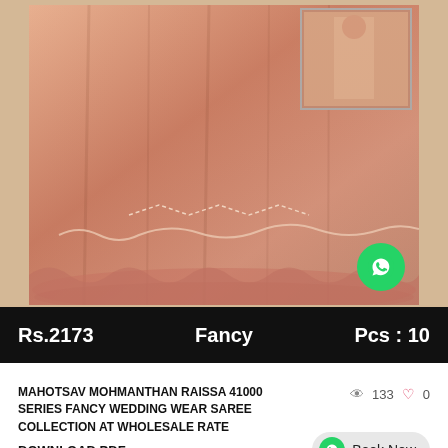[Figure (photo): Peach/salmon colored fancy saree displayed on a model, with a mirror inset showing another angle. WhatsApp contact button overlay in bottom right.]
Rs.2173    Fancy    Pcs : 10
MAHOTSAV MOHMANTHAN RAISSA 41000 SERIES FANCY WEDDING WEAR SAREE COLLECTION AT WHOLESALE RATE
133  0
DOWNLOAD PDF
Book Now